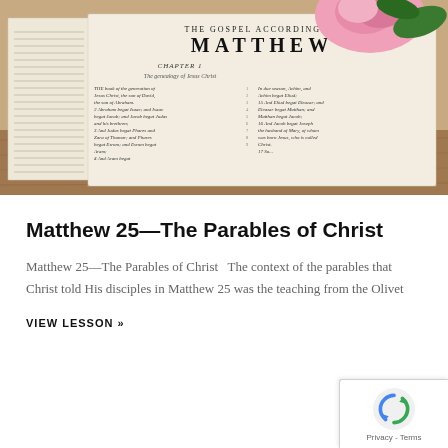[Figure (photo): Open Bible showing the Gospel According to Matthew, Chapter 1, with a pink rose and green leaves visible in the background on a wooden surface.]
Matthew 25—The Parables of Christ
Matthew 25—The Parables of Christ   The context of the parables that Christ told His disciples in Matthew 25 was the teaching from the Olivet
VIEW LESSON »